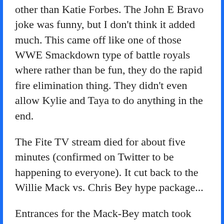other than Katie Forbes. The John E Bravo joke was funny, but I don't think it added much. This came off like one of those WWE Smackdown type of battle royals where rather than be fun, they do the rapid fire elimination thing. They didn't even allow Kylie and Taya to do anything in the end.
The Fite TV stream died for about five minutes (confirmed on Twitter to be happening to everyone). It cut back to the Willie Mack vs. Chris Bey hype package...
Entrances for the Mack-Bey match took place. Josh noted the story going into the match is weather Bey can win the match without Johnny Swinger's help. Josh Mathews pointed out that Willie Mack is such a good person, that he called